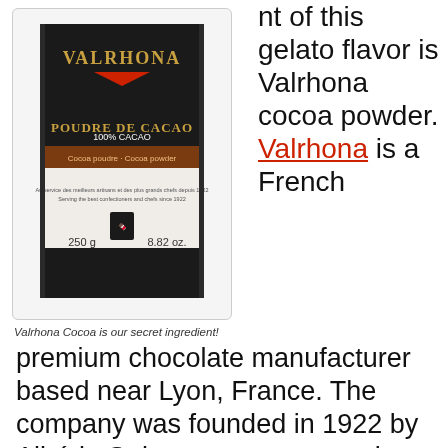[Figure (photo): Valrhona Poudre de Cacao cocoa powder tin, 250g / 8.82 oz, 100% Cacao]
Valrhona Cocoa is our secret ingredient!
nt of this gelato flavor is Valrhona cocoa powder. Valrhona is a French premium chocolate manufacturer based near Lyon, France. The company was founded in 1922 by Albéric Guironnet, a renowned pastry chef. We choose the Valrhona brand for most of our chocolate-based flavors because of their natural, high-quality products.